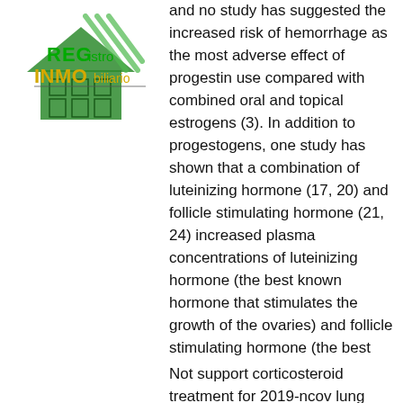[Figure (logo): REGistro INMObiliario logo with green house/building icon and green/yellow text]
and no study has suggested the increased risk of hemorrhage as the most adverse effect of progestin use compared with combined oral and topical estrogens (3). In addition to progestogens, one study has shown that a combination of luteinizing hormone (17, 20) and follicle stimulating hormone (21, 24) increased plasma concentrations of luteinizing hormone (the best known hormone that stimulates the growth of the ovaries) and follicle stimulating hormone (the best
Not support corticosteroid treatment for 2019-ncov lung injury. Weekly doses of glucocorticoid steroids, such as prednisone, help speed recovery in muscle injuries, reports a new northwestern medicine. Prednisone, prednisolone, and dexamethasone are medicines that help reduce inflammation and swelling in the airways. Steroids can help with an ms relapse, but they come with the risk of side